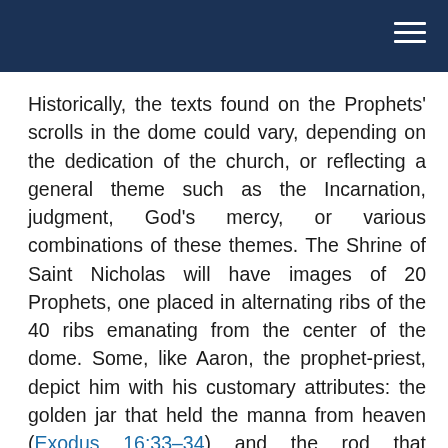Historically, the texts found on the Prophets' scrolls in the dome could vary, depending on the dedication of the church, or reflecting a general theme such as the Incarnation, judgment, God's mercy, or various combinations of these themes. The Shrine of Saint Nicholas will have images of 20 Prophets, one placed in alternating ribs of the 40 ribs emanating from the center of the dome. Some, like Aaron, the prophet-priest, depict him with his customary attributes: the golden jar that held the manna from heaven (Exodus 16:33–34) and the rod that blossomed miraculously (Numbers 17:8): both understood as prefigurations of the Theotokos and